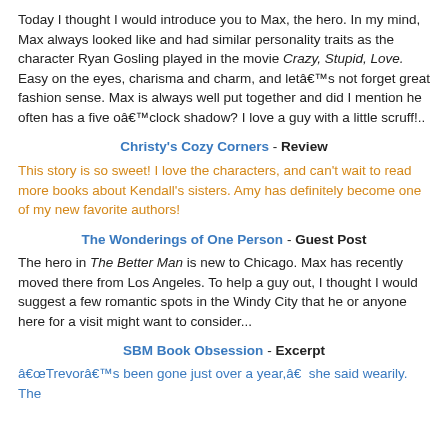Today I thought I would introduce you to Max, the hero. In my mind, Max always looked like and had similar personality traits as the character Ryan Gosling played in the movie Crazy, Stupid, Love. Easy on the eyes, charisma and charm, and letâ€™s not forget great fashion sense. Max is always well put together and did I mention he often has a five oâ€™clock shadow? I love a guy with a little scruff!..
Christy's Cozy Corners - Review
This story is so sweet! I love the characters, and can't wait to read more books about Kendall's sisters. Amy has definitely become one of my new favorite authors!
The Wonderings of One Person - Guest Post
The hero in The Better Man is new to Chicago. Max has recently moved there from Los Angeles. To help a guy out, I thought I would suggest a few romantic spots in the Windy City that he or anyone here for a visit might want to consider...
SBM Book Obsession - Excerpt
â€œTrevorâ€™s been gone just over a year,â€she said wearily. The